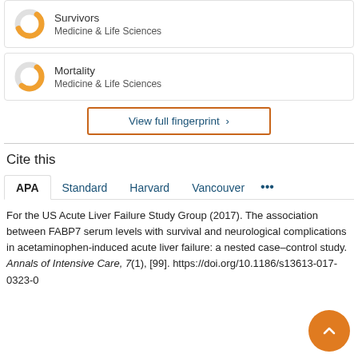[Figure (donut-chart): Partial donut chart icon for Survivors - Medicine & Life Sciences]
Survivors
Medicine & Life Sciences
[Figure (donut-chart): Partial donut chart icon for Mortality - Medicine & Life Sciences]
Mortality
Medicine & Life Sciences
View full fingerprint ›
Cite this
APA   Standard   Harvard   Vancouver   •••
For the US Acute Liver Failure Study Group (2017). The association between FABP7 serum levels with survival and neurological complications in acetaminophen-induced acute liver failure: a nested case–control study. Annals of Intensive Care, 7(1), [99]. https://doi.org/10.1186/s13613-017-0323-0